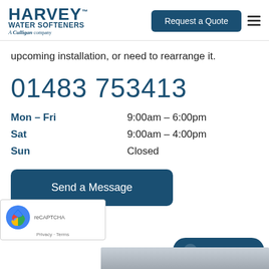[Figure (logo): Harvey Water Softeners logo - A Culligan company, dark blue text]
[Figure (screenshot): Request a Quote button, dark blue rounded rectangle]
upcoming installation, or need to rearrange it.
01483 753413
| Day | Hours |
| --- | --- |
| Mon – Fri | 9:00am – 6:00pm |
| Sat | 9:00am – 4:00pm |
| Sun | Closed |
[Figure (screenshot): Send a Message button, dark blue rounded rectangle]
[Figure (screenshot): reCAPTCHA widget with Privacy and Terms links]
[Figure (screenshot): Agent Offline chat button, dark teal pill shape]